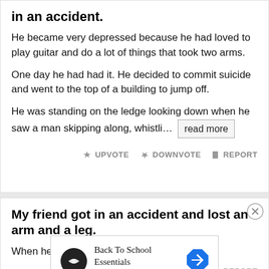in an accident.
He became very depressed because he had loved to play guitar and do a lot of things that took two arms.
One day he had had it. He decided to commit suicide and went to the top of a building to jump off.
He was standing on the ledge looking down when he saw a man skipping along, whistli…  read more
My friend got in an accident and lost an arm and a leg.
When he left the hospital he was all right.
[Figure (infographic): Advertisement banner for Back To School Essentials at Leesburg Premium Outlets with logo and navigation arrow icon]